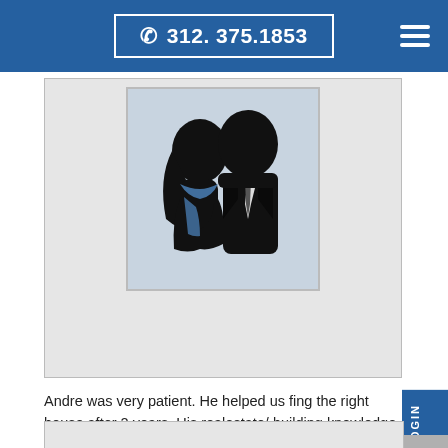☎ 312. 375.1853
[Figure (illustration): Silhouette image of two people (a woman and a man in a suit and tie) against a light blue-grey background, shown from shoulders up.]
Andre was very patient. He helped us fing the right house after 2 years. His realestate/ building knowledge, negotiation skills, and active communication far eceeded our expectations. We would gladly use him again and recommend him. Thanks for everything.
See More